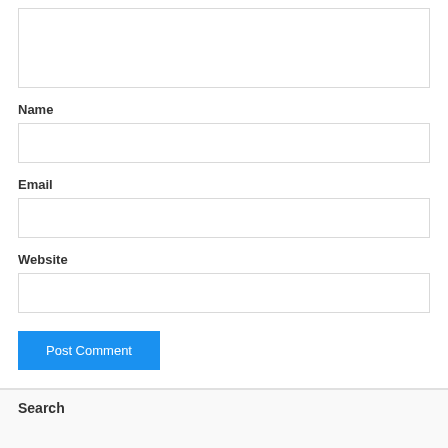[Figure (screenshot): Textarea input box (comment field), partially visible at top]
Name
[Figure (screenshot): Name input field text box]
Email
[Figure (screenshot): Email input field text box]
Website
[Figure (screenshot): Website input field text box]
[Figure (screenshot): Post Comment button (blue)]
Search